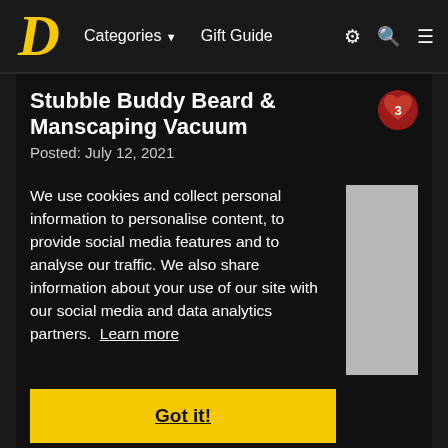Categories ▼  Gift Guide
Stubble Buddy Beard & Manscaping Vacuum
Posted: July 12, 2021
We use cookies and collect personal information to personalise content, to provide social media features and to analyse our traffic. We also share information about your use of our site with our social media and data analytics partners. Learn more
Got it!